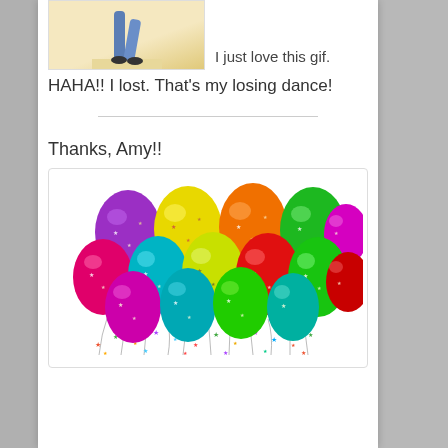[Figure (photo): A person dancing, showing only the lower body in jeans on a light floor background]
I just love this gif. HAHA!! I lost. That's my losing dance!
Thanks, Amy!!
[Figure (illustration): A colorful bunch of balloons (purple, yellow, orange, green, magenta, teal, red) with confetti stars and string tails on a white background]